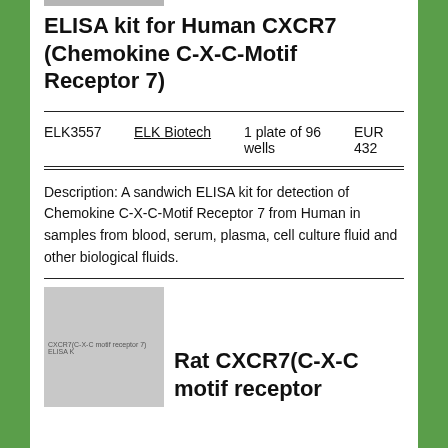ELISA kit for Human CXCR7 (Chemokine C-X-C-Motif Receptor 7)
|  |  |  |  |
| --- | --- | --- | --- |
| ELK3557 | ELK Biotech | 1 plate of 96 wells | EUR 432 |
Description: A sandwich ELISA kit for detection of Chemokine C-X-C-Motif Receptor 7 from Human in samples from blood, serum, plasma, cell culture fluid and other biological fluids.
[Figure (photo): Product image placeholder for CXCR7(C-X-C-motif receptor 7) ELISA kit]
Rat CXCR7(C-X-C motif receptor